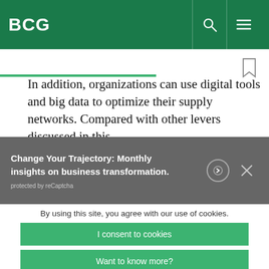BCG
In addition, organizations can use digital tools and big data to optimize their supply networks. Compared with other levers discussed in this
Change Your Trajectory: Monthly insights on business transformation. → protected by reCaptcha
By using this site, you agree with our use of cookies.
I consent to cookies
Want to know more?
Read our Cookie Policy